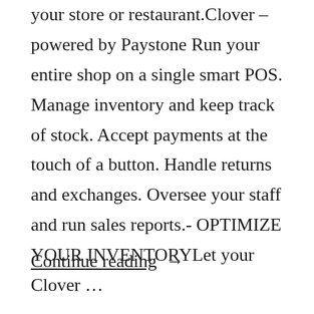your store or restaurant.Clover – powered by Paystone Run your entire shop on a single smart POS. Manage inventory and keep track of stock. Accept payments at the touch of a button. Handle returns and exchanges. Oversee your staff and run sales reports.- OPTIMIZE YOUR INVENTORYLet your Clover …
Continue reading →